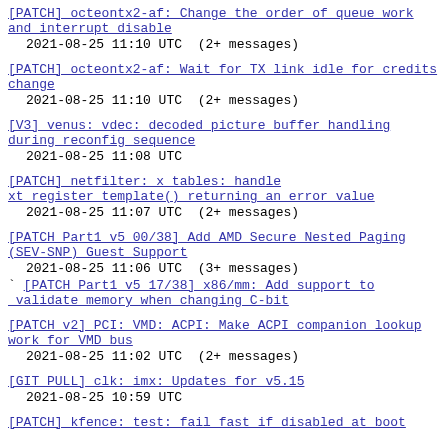[PATCH] octeontx2-af: Change the order of queue work and interrupt disable
2021-08-25 11:10 UTC  (2+ messages)
[PATCH] octeontx2-af: Wait for TX link idle for credits change
2021-08-25 11:10 UTC  (2+ messages)
[V3] venus: vdec: decoded picture buffer handling during reconfig sequence
2021-08-25 11:08 UTC
[PATCH] netfilter: x tables: handle xt_register_template() returning an error value
2021-08-25 11:07 UTC  (2+ messages)
[PATCH Part1 v5 00/38] Add AMD Secure Nested Paging (SEV-SNP) Guest Support
2021-08-25 11:06 UTC  (3+ messages)
` [PATCH Part1 v5 17/38] x86/mm: Add support to validate memory when changing C-bit
[PATCH v2] PCI: VMD: ACPI: Make ACPI companion lookup work for VMD bus
2021-08-25 11:02 UTC  (2+ messages)
[GIT PULL] clk: imx: Updates for v5.15
2021-08-25 10:59 UTC
[PATCH] kfence: test: fail fast if disabled at boot